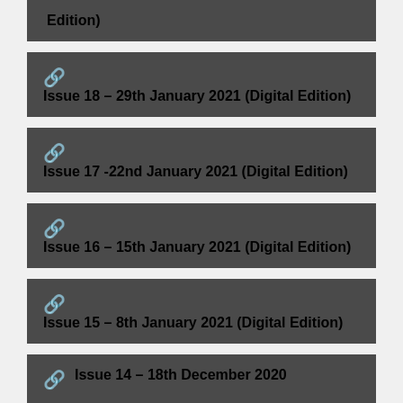Edition)
Issue 18 – 29th January 2021 (Digital Edition)
Issue 17 -22nd January 2021 (Digital Edition)
Issue 16 – 15th January 2021 (Digital Edition)
Issue 15 – 8th January 2021 (Digital Edition)
Issue 14 – 18th December 2020